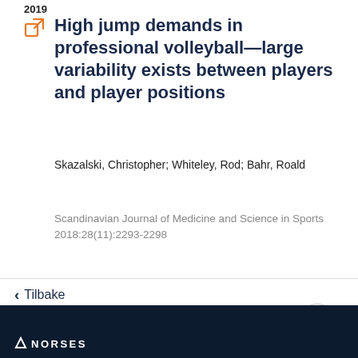2019
High jump demands in professional volleyball—large variability exists between players and player positions
Skazalski, Christopher; Whiteley, Rod; Bahr, Roald
Scandinavian Journal of Medicine and Science in Sports 2018:28(11):2293-2298
Tilbake
NORSES